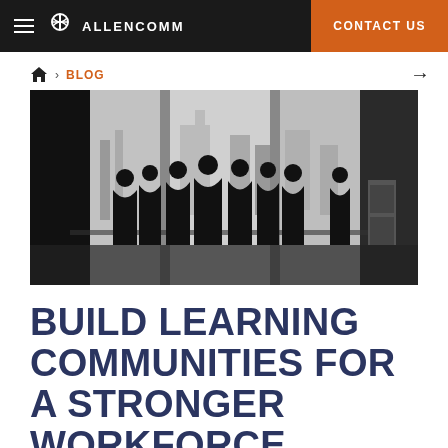AllenComm — CONTACT US
🏠 > BLOG →
[Figure (photo): Black and white silhouette photo of a group of people sitting and standing around a table in a room with large windows overlooking a city skyline.]
BUILD LEARNING COMMUNITIES FOR A STRONGER WORKFORCE